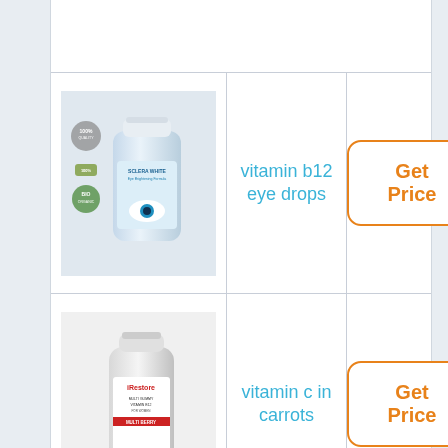[Figure (photo): Sclera White Eye Brightening Formula supplement bottle with quality badges]
vitamin b12 eye drops
Get Price
[Figure (photo): iRestore multi-berry vitamin gummy bottle with gummy candies]
vitamin c in carrots
Get Price